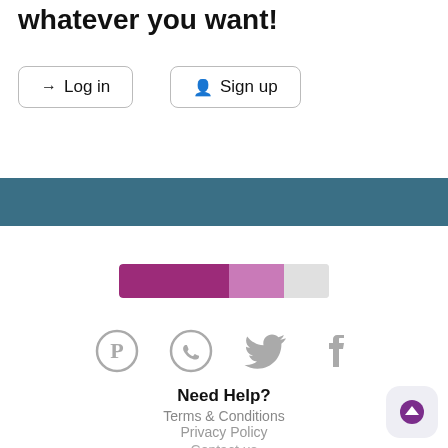whatever you want!
Log in
Sign up
[Figure (infographic): Teal horizontal banner/divider bar]
[Figure (infographic): Progress bar with dark purple, light purple, and grey sections]
[Figure (infographic): Social media icons: Pinterest, WhatsApp, Twitter, Facebook — all in grey]
Need Help?
Terms & Conditions
Privacy Policy
Contact us